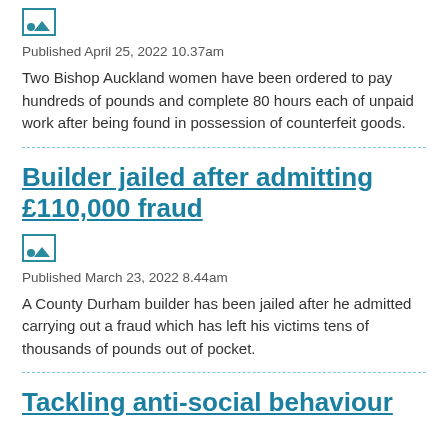[Figure (photo): Image thumbnail placeholder icon]
Published April 25, 2022 10.37am
Two Bishop Auckland women have been ordered to pay hundreds of pounds and complete 80 hours each of unpaid work after being found in possession of counterfeit goods.
Builder jailed after admitting £110,000 fraud
[Figure (photo): Image thumbnail placeholder icon]
Published March 23, 2022 8.44am
A County Durham builder has been jailed after he admitted carrying out a fraud which has left his victims tens of thousands of pounds out of pocket.
Tackling anti-social behaviour